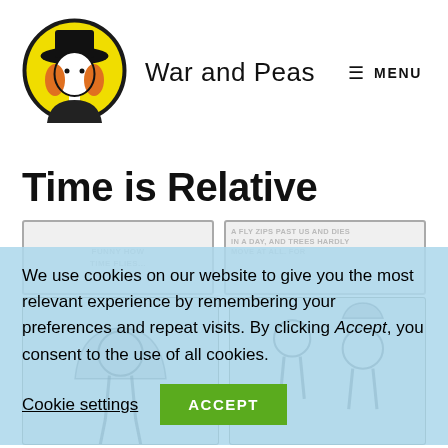[Figure (logo): War and Peas website logo — circular illustration of a cartoon girl with a wide black hat, white face, orange hair, black outfit, on yellow background with black border]
War and Peas
≡ MENU
Time is Relative
[Figure (illustration): Comic strip panels partially visible, showing cartoon figures and text, partially obscured by cookie consent banner]
We use cookies on our website to give you the most relevant experience by remembering your preferences and repeat visits. By clicking Accept, you consent to the use of all cookies.
Cookie settings
ACCEPT